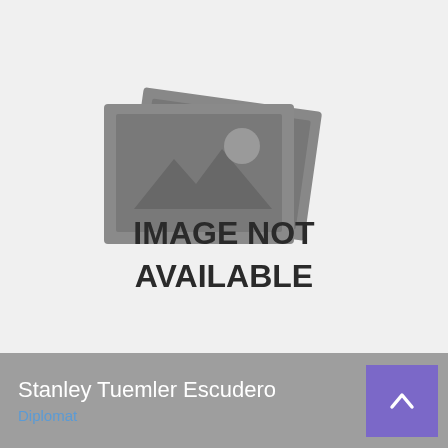[Figure (illustration): Gray placeholder image with stacked photo icons and text reading IMAGE NOT AVAILABLE]
Stanley Tuemler Escudero
Diplomat